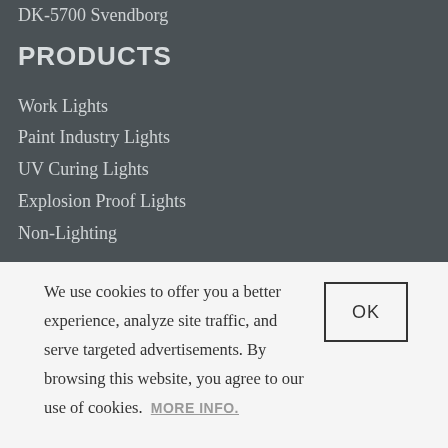DK-5700 Svendborg
PRODUCTS
Work Lights
Paint Industry Lights
UV Curing Lights
Explosion Proof Lights
Non-Lighting
We use cookies to offer you a better experience, analyze site traffic, and serve targeted advertisements. By browsing this website, you agree to our use of cookies.  MORE INFO.
OK